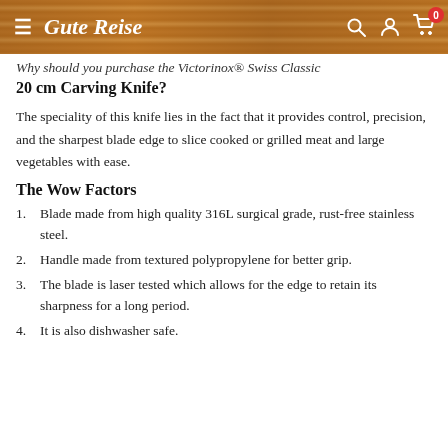Gute Reise
Why should you purchase the Victorinox® Swiss Classic 20 cm Carving Knife?
The speciality of this knife lies in the fact that it provides control, precision, and the sharpest blade edge to slice cooked or grilled meat and large vegetables with ease.
The Wow Factors
Blade made from high quality 316L surgical grade, rust-free stainless steel.
Handle made from textured polypropylene for better grip.
The blade is laser tested which allows for the edge to retain its sharpness for a long period.
It is also dishwasher safe.